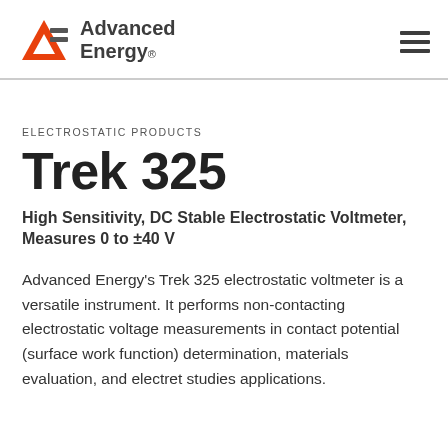Advanced Energy [logo] [hamburger menu]
ELECTROSTATIC PRODUCTS
Trek 325
High Sensitivity, DC Stable Electrostatic Voltmeter, Measures 0 to ±40 V
Advanced Energy's Trek 325 electrostatic voltmeter is a versatile instrument. It performs non-contacting electrostatic voltage measurements in contact potential (surface work function) determination, materials evaluation, and electret studies applications.